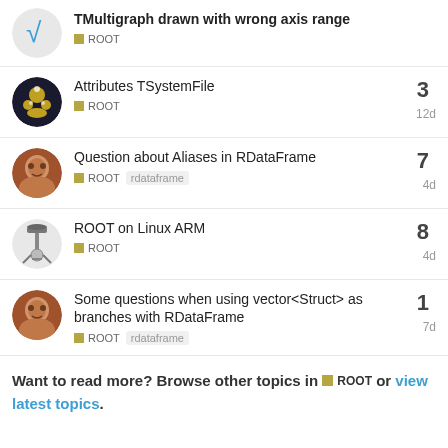TMultigraph drawn with wrong axis range — ROOT
Attributes TSystemFile — ROOT — 3 replies — 12d
Question about Aliases in RDataFrame — ROOT rdataframe — 7 replies — 4d
ROOT on Linux ARM — ROOT — 8 replies — 4d
Some questions when using vector<Struct> as branches with RDataFrame — ROOT rdataframe — 1 reply — 7d
Want to read more? Browse other topics in ROOT or view latest topics.